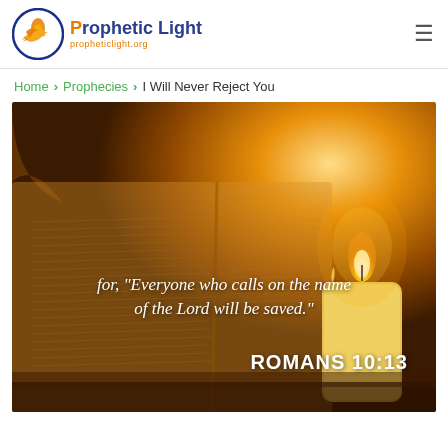[Figure (logo): Prophetic Light logo: circular emblem with dove and flame, orange and blue coloring. Text reads 'Prophetic Light' with subtitle 'propheticlight.org']
Home > Prophecies > I Will Never Reject You
[Figure (photo): Open Bible with a lit candle glowing in warm amber light. Overlaid italic white text reads: for, "Everyone who calls on the name of the Lord will be saved." with ROMANS 10:13 in bold white text.]